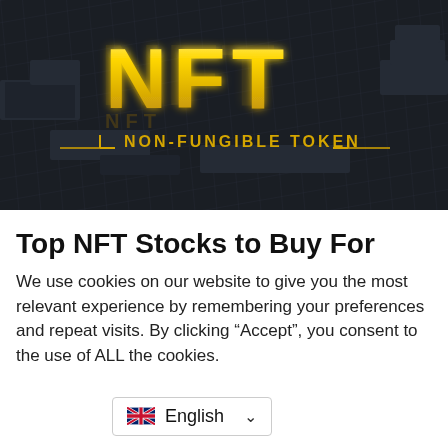[Figure (photo): 3D render of gold NFT letters on a dark grid surface with 'NON-FUNGIBLE TOKEN' text in yellow below]
Top NFT Stocks to Buy For
We use cookies on our website to give you the most relevant experience by remembering your preferences and repeat visits. By clicking “Accept”, you consent to the use of ALL the cookies.
English